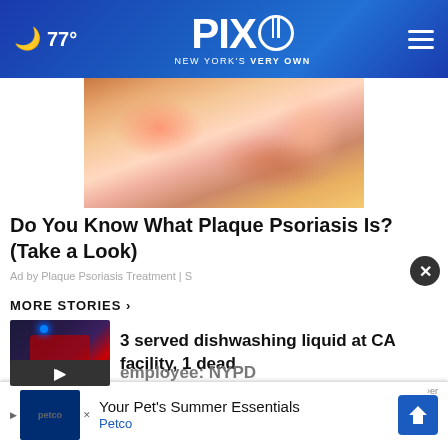PIX11 NEW YORK'S VERY OWN — 77°
[Figure (photo): Close-up photo of skin with plaque psoriasis — pink/red skin texture on warm background]
Do You Know What Plaque Psoriasis Is? (Take a Look)
Ad by Plaque Psoriasis Treatment | S
MORE STORIES ›
[Figure (photo): Police/emergency vehicle with flashing red and blue lights at night]
3 served dishwashing liquid at CA facility, 1 dead
[Figure (photo): Vaccine vial bottle close-up]
NYPD detective's plea to block vax mandate denied
[Figure (photo): Video thumbnail with play button]
employee: NYPD
[Figure (screenshot): Petco ad banner: Your Pet's Summer Essentials — Petco]
Your Pet's Summer Essentials Petco